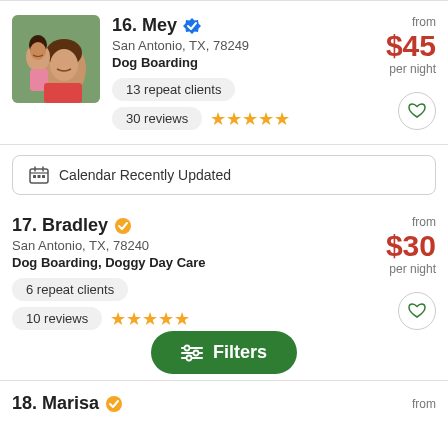[Figure (photo): Profile photo of Mey - woman with child outdoors]
16. Mey ✓
San Antonio, TX, 78249
Dog Boarding
13 repeat clients
30 reviews ★★★★★
from $45 per night
📅 Calendar Recently Updated
17. Bradley ✓
San Antonio, TX, 78240
Dog Boarding, Doggy Day Care
6 repeat clients
10 reviews ★★★★★
from $30 per night
Filters
18. Marisa ✓
from